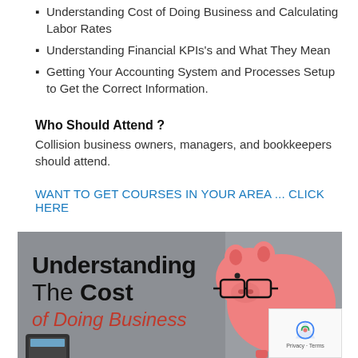Understanding Cost of Doing Business and Calculating Labor Rates
Understanding Financial KPIs's and What They Mean
Getting Your Accounting System and Processes Setup to Get the Correct Information.
Who Should Attend ?
Collision business owners, managers, and bookkeepers should attend.
WANT TO GET COURSES IN YOUR AREA ... CLICK HERE
[Figure (illustration): Promotional banner image with text 'Understanding The Cost of Doing Business' with a pink piggy bank wearing black glasses, and a tablet/calculator in the lower left corner. Grey background.]